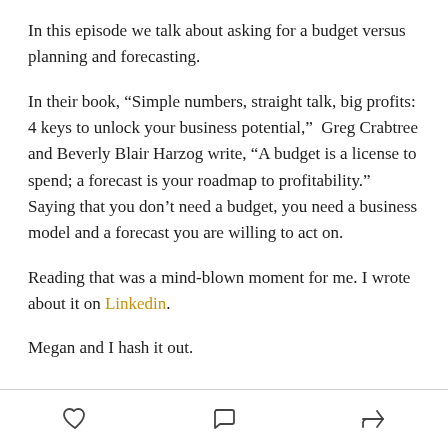In this episode we talk about asking for a budget versus planning and forecasting.
In their book, “Simple numbers, straight talk, big profits: 4 keys to unlock your business potential,”  Greg Crabtree and Beverly Blair Harzog write, “A budget is a license to spend; a forecast is your roadmap to profitability.” Saying that you don’t need a budget, you need a business model and a forecast you are willing to act on.
Reading that was a mind-blown moment for me. I wrote about it on Linkedin.
Megan and I hash it out.